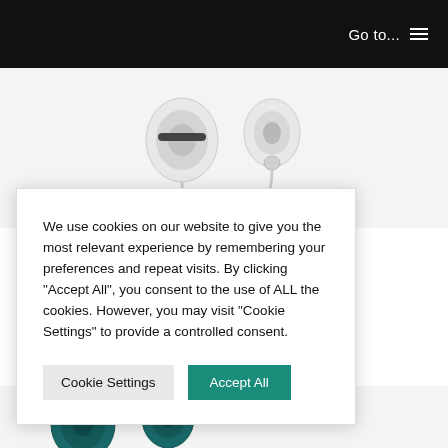Go to...  ☰
[Figure (photo): Two white in-ear earbuds/earphones shown from different angles against a light gray background]
We use cookies on our website to give you the most relevant experience by remembering your preferences and repeat visits. By clicking "Accept All", you consent to the use of ALL the cookies. However, you may visit "Cookie Settings" to provide a controlled consent.
Cookie Settings   Accept All
[Figure (photo): Teal/dark cyan in-ear earbuds partially visible at the bottom of the page]